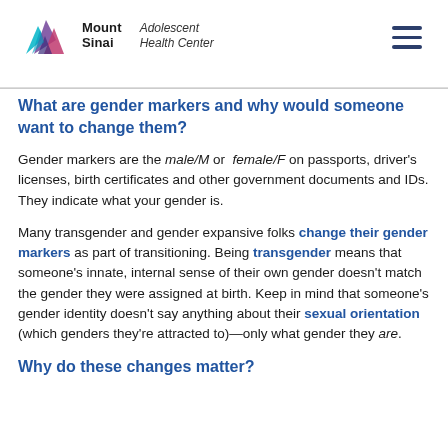Mount Sinai Adolescent Health Center
What are gender markers and why would someone want to change them?
Gender markers are the male/M or female/F on passports, driver's licenses, birth certificates and other government documents and IDs. They indicate what your gender is.
Many transgender and gender expansive folks change their gender markers as part of transitioning. Being transgender means that someone's innate, internal sense of their own gender doesn't match the gender they were assigned at birth. Keep in mind that someone's gender identity doesn't say anything about their sexual orientation (which genders they're attracted to)—only what gender they are.
Why do these changes matter?